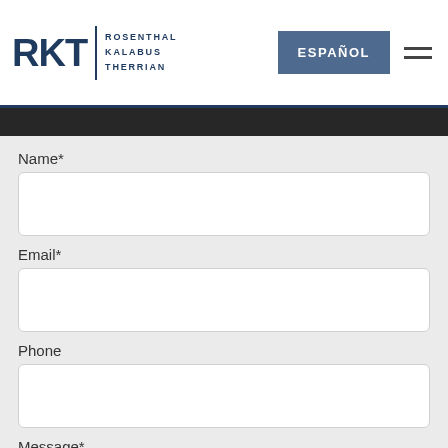[Figure (logo): RKT Rosenthal Kalabus Therrian law firm logo with dark blue text]
ESPAÑOL
Name*
Email*
Phone
Message*